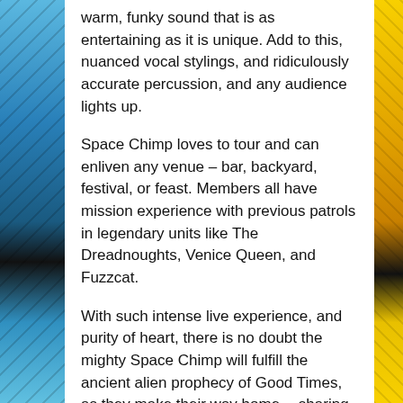warm, funky sound that is as entertaining as it is unique. Add to this, nuanced vocal stylings, and ridiculously accurate percussion, and any audience lights up.
Space Chimp loves to tour and can enliven any venue – bar, backyard, festival, or feast. Members all have mission experience with previous patrols in legendary units like The Dreadnoughts, Venice Queen, and Fuzzcat.
With such intense live experience, and purity of heart, there is no doubt the mighty Space Chimp will fulfill the ancient alien prophecy of Good Times, as they make their way home -- sharing the lessons of their trans-dimensional, musical wanderings.
Audio
[Figure (other): Red rectangular button/bar element]